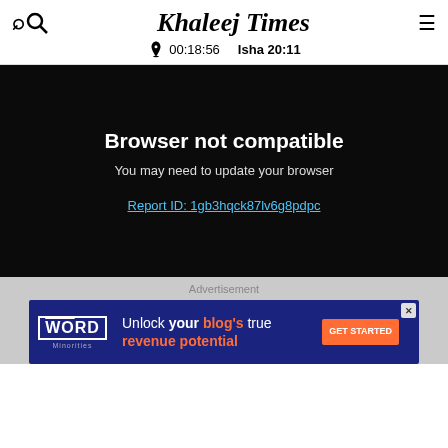Khaleej Times
00:18:56   Isha 20:11
[Figure (screenshot): Black browser error screen with text 'Browser not compatible', 'You may need to update your browser', and a report link 'Report ID: 1gb3hqck87lv6g8pdpc']
Advertisement
[Figure (infographic): Advertisement banner for Word Minorities: 'Unlock your blog's true revenue potential' with GET STARTED button]